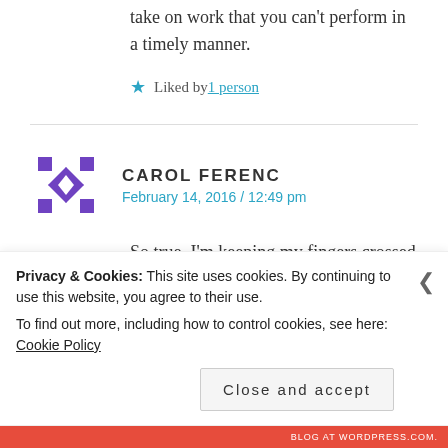take on work that you can't perform in a timely manner.
★ Liked by 1 person
CAROL FERENC
February 14, 2016 / 12:49 pm
So true. I'm keeping my fingers crossed for you, Dinata.
★ Like
Privacy & Cookies: This site uses cookies. By continuing to use this website, you agree to their use.
To find out more, including how to control cookies, see here: Cookie Policy
Close and accept